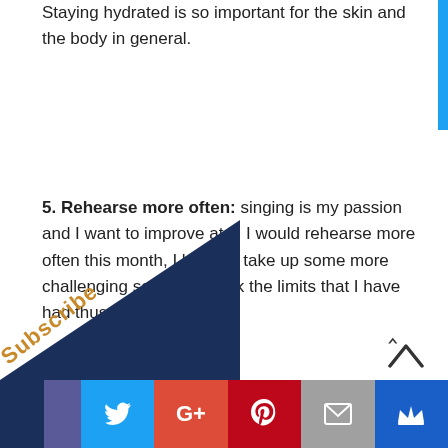Staying hydrated is so important for the skin and the body in general.
5. Rehearse more often: singing is my passion and I want to improve at it. I would rehearse more often this month, I hope to take up some more challenging songs to break the limits that I have had thus far.
[Figure (other): Dark blue triangular subscribe button in bottom left corner with orange 'Subscribe' text]
[Figure (other): Social media share bar with Twitter, Google+, Pinterest, Email, and crown icon buttons]